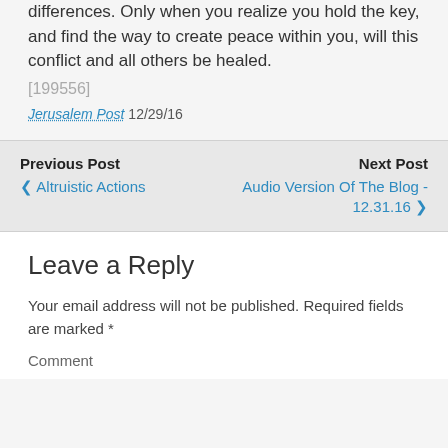differences. Only when you realize you hold the key, and find the way to create peace within you, will this conflict and all others be healed.
[199556]
Jerusalem Post 12/29/16
Previous Post
‹ Altruistic Actions
Next Post
Audio Version Of The Blog - 12.31.16 ›
Leave a Reply
Your email address will not be published. Required fields are marked *
Comment